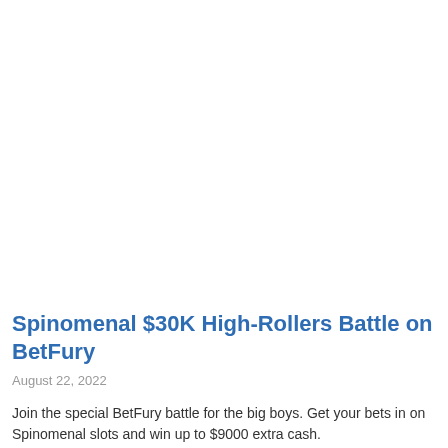Spinomenal $30K High-Rollers Battle on BetFury
August 22, 2022
Join the special BetFury battle for the big boys. Get your bets in on Spinomenal slots and win up to $9000 extra cash.
More »